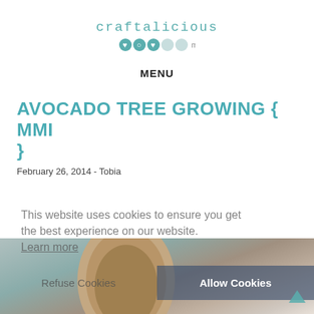[Figure (logo): Craftalicious me logo with teal text and social icon circles]
MENU
AVOCADO TREE GROWING { MMI }
February 26, 2014 - Tobia
This website uses cookies to ensure you get the best experience on our website. Learn more
Refuse Cookies   Allow Cookies
[Figure (photo): Close-up photo of an avocado seed/pit suspended with toothpicks, blurred kitchen background]